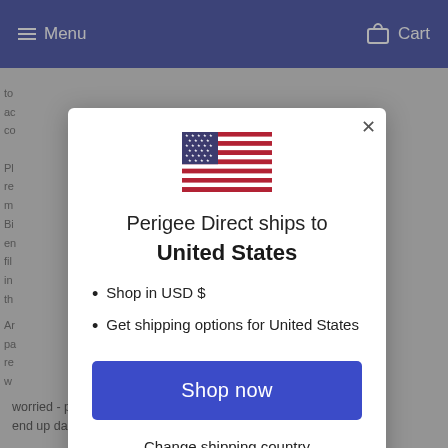Menu | Cart
to ac co
Pl re m Bi en fil in th
Ar pa re w gr
[Figure (infographic): Popup modal dialog showing US flag, text 'Perigee Direct ships to United States', bullet points 'Shop in USD $' and 'Get shipping options for United States', a blue 'Shop now' button, and a 'Change shipping country' link]
worried - plastics/rub easily to abrasion so... don't end up damaging other sections of the part where the wheel